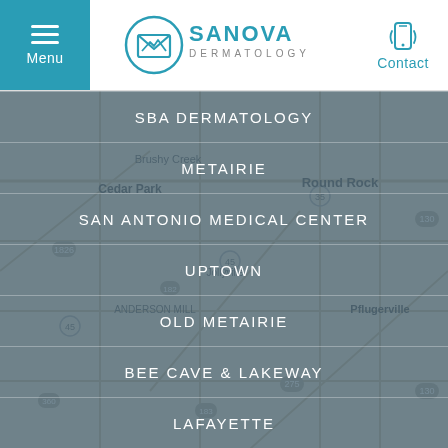[Figure (logo): Sanova Dermatology logo with circular envelope icon and text 'SANOVA DERMATOLOGY']
[Figure (map): Street map background showing Austin TX area with Cedar Park, Round Rock, Pflugerville, Anderson Mill, Jollyville labels]
SBA DERMATOLOGY
METAIRIE
SAN ANTONIO MEDICAL CENTER
UPTOWN
OLD METAIRIE
BEE CAVE & LAKEWAY
LAFAYETTE